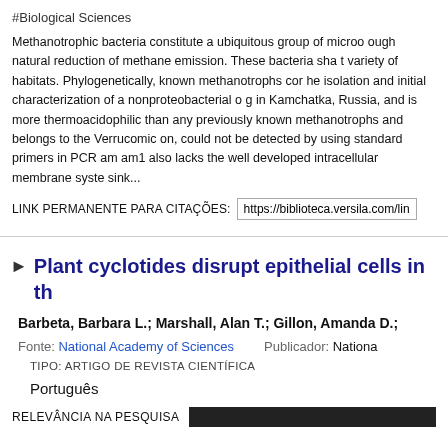#Biological Sciences
Methanotrophic bacteria constitute a ubiquitous group of microo ough natural reduction of methane emission. These bacteria sha t variety of habitats. Phylogenetically, known methanotrophs cor he isolation and initial characterization of a nonproteobacterial o g in Kamchatka, Russia, and is more thermoacidophilic than any previously known methanotrophs and belongs to the Verrucomic on, could not be detected by using standard primers in PCR am am1 also lacks the well developed intracellular membrane syste sink...
LINK PERMANENTE PARA CITAÇÕES: https://biblioteca.versila.com/lin
Plant cyclotides disrupt epithelial cells in th
Barbeta, Barbara L.; Marshall, Alan T.; Gillon, Amanda D.;
Fonte: National Academy of Sciences    Publicador: Nationa
TIPO: ARTIGO DE REVISTA CIENTÍFICA
Português
RELEVÂNCIA NA PESQUISA